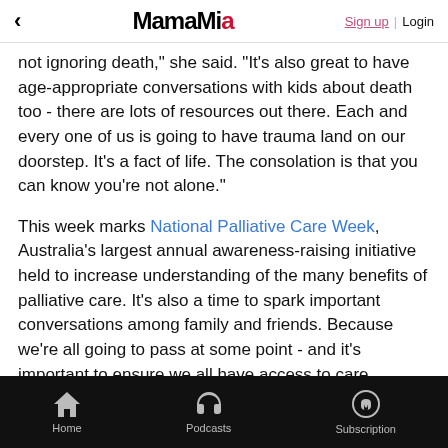< MamaMia Sign up | Login
not ignoring death," she said. "It's also great to have age-appropriate conversations with kids about death too - there are lots of resources out there. Each and every one of us is going to have trauma land on our doorstep. It's a fact of life. The consolation is that you can know you're not alone."
This week marks National Palliative Care Week, Australia's largest annual awareness-raising initiative held to increase understanding of the many benefits of palliative care. It's also a time to spark important conversations among family and friends. Because we're all going to pass at some point - and it's important to ensure we all have access to care.
Home  Podcasts  Subscription